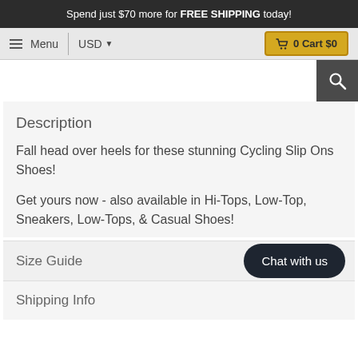Spend just $70 more for FREE SHIPPING today!
Menu  USD  0 Cart $0
Description
Fall head over heels for these stunning Cycling Slip Ons Shoes!
Get yours now - also available in Hi-Tops, Low-Top, Sneakers, Low-Tops, & Casual Shoes!
Size Guide
Shipping Info